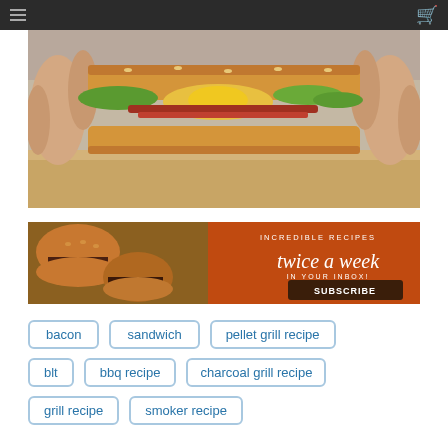Navigation bar with hamburger menu and shopping cart icon
[Figure (photo): Close-up photo of hands holding a grilled sandwich/BLT with bacon, egg, lettuce, and toasted bread on a wooden cutting board]
[Figure (infographic): Subscribe banner: burger sliders on left, orange/brown background on right with text 'INCREDIBLE RECIPES twice a week IN YOUR INBOX! SUBSCRIBE']
bacon
sandwich
pellet grill recipe
blt
bbq recipe
charcoal grill recipe
grill recipe
smoker recipe